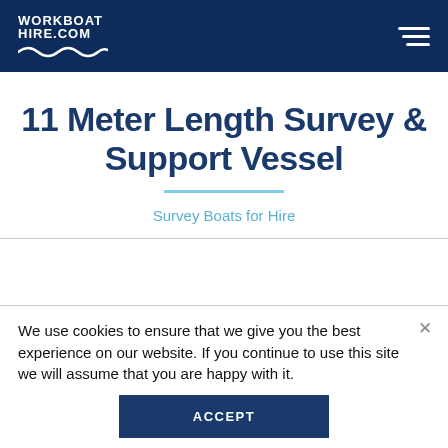WORKBOAT HIRE.COM
11 Meter Length Survey & Support Vessel
Survey Boats for Hire
We use cookies to ensure that we give you the best experience on our website. If you continue to use this site we will assume that you are happy with it.
ACCEPT